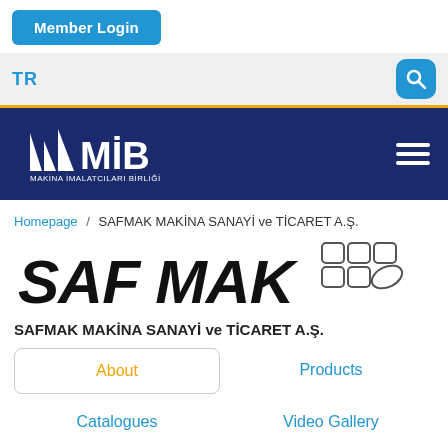Member Login
TR
[Figure (logo): MIB - Makina İmalatçıları Birliği logo with white sail-like shapes on navy background and text MAKİNA İMALATÇILARI BİRLİĞİ]
Homepage / SAFMAK MAKİNA SANAYİ ve TİCARET A.Ş.
[Figure (logo): SAF MAK company logo in bold black italic text with geometric square and diamond shapes on right side]
SAFMAK MAKİNA SANAYİ ve TİCARET A.Ş.
About
Products
Catalogues
Video Gallery